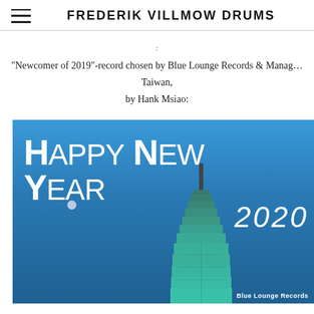FREDERIK VILLMOW DRUMS
"Newcomer of 2019"-record chosen by Blue Lounge Records & Management, Taiwan,
by Hank Msiao:
[Figure (photo): Happy New Year 2020 greeting image showing Taipei 101 skyscraper against a blue sky with a moon visible, overlaid with decorative 'Happy New Year 2020' text in white. Blue Lounge Records branding visible at bottom right.]